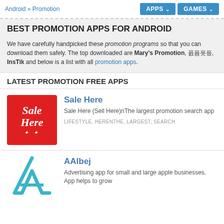Android » Promotion | APPS | GAMES
BEST PROMOTION APPS FOR ANDROID
We have carefully handpicked these promotion programs so that you can download them safely. The top downloaded are Mary's Promotion, 픐픔픗픘, InsTik and below is a list with all promotion apps.
LATEST PROMOTION FREE APPS
[Figure (logo): Sale Here app icon - red background with white cursive text 'Sale Here' and stars]
Sale Here
Sale Here (Sell Here)nThe largest promotion search app
LIFESTYLE, HERENTHE, LARGEST, SEARCH
[Figure (logo): AAlbej app icon - white background with teal/blue stylized A logo]
AAlbej
Advertising app for small and large apple businesses. App helps to grow